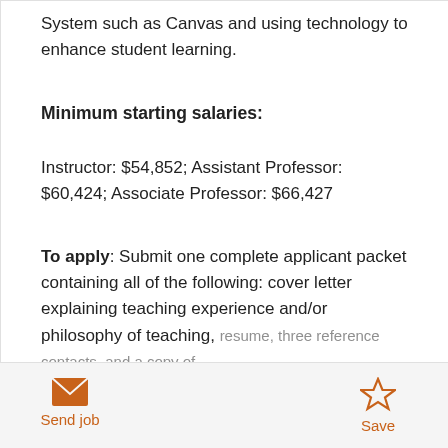System such as Canvas and using technology to enhance student learning.
Minimum starting salaries:
Instructor: $54,852; Assistant Professor: $60,424; Associate Professor: $66,427
To apply: Submit one complete applicant packet containing all of the following: cover letter explaining teaching experience and/or philosophy of teaching, resume, three reference contacts, and a copy of
Send job   Save